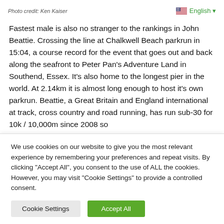Photo credit: Ken Kaiser
Fastest male is also no stranger to the rankings in John Beattie. Crossing the line at Chalkwell Beach parkrun in 15:04, a course record for the event that goes out and back along the seafront to Peter Pan's Adventure Land in Southend, Essex. It's also home to the longest pier in the world. At 2.14km it is almost long enough to host it's own parkrun. Beattie, a Great Britain and England international at track, cross country and road running, has run sub-30 for 10k / 10,000m since 2008 so
We use cookies on our website to give you the most relevant experience by remembering your preferences and repeat visits. By clicking “Accept All”, you consent to the use of ALL the cookies. However, you may visit "Cookie Settings" to provide a controlled consent.
Cookie Settings    Accept All